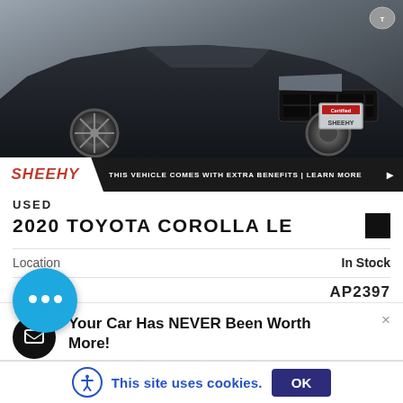[Figure (photo): Front/side view of a dark black 2020 Toyota Corolla LE at a dealership, showing the vehicle on a grey floor with Toyota badge visible]
SHEEHY | THIS VEHICLE COMES WITH EXTRA BENEFITS | LEARN MORE ▶
USED
2020 TOYOTA COROLLA LE
Location    In Stock
AP2397
rior Color    Black
Your Car Has NEVER Been Worth More!
Sell or Trade Your Car Today.
This site uses cookies.
OK